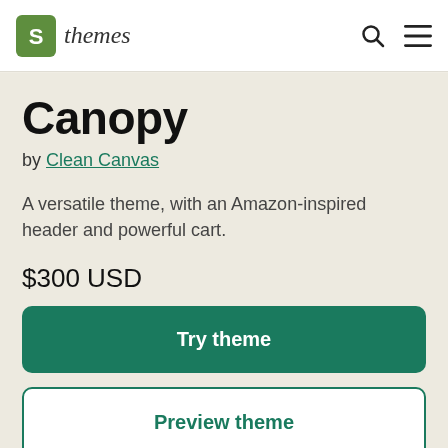Shopify themes
Canopy
by Clean Canvas
A versatile theme, with an Amazon-inspired header and powerful cart.
$300 USD
Try theme
Preview theme
Unlimited free trial. Pay if you publish.